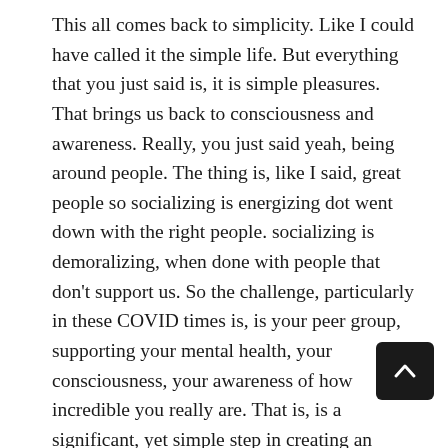This all comes back to simplicity. Like I could have called it the simple life. But everything that you just said is, it is simple pleasures. That brings us back to consciousness and awareness. Really, you just said yeah, being around people. The thing is, like I said, great people so socializing is energizing dot went down with the right people. socializing is demoralizing, when done with people that don't support us. So the challenge, particularly in these COVID times is, is your peer group, supporting your mental health, your consciousness, your awareness of how incredible you really are. That is, is a significant, yet simple step in creating an exception a lot. hopping in the ocean is a very simple step for people particularly that live near the ocean. But even if you don't go for a walk in nature, you know, wherever nature is for you, whether it's around an oval, you